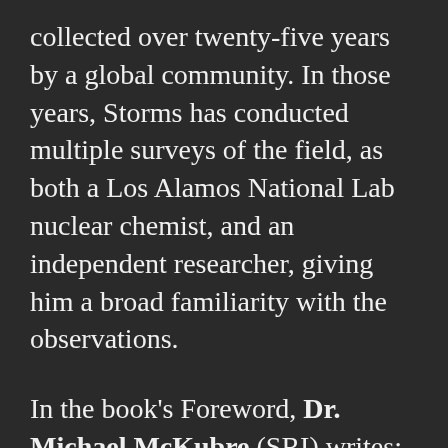collected over twenty-five years by a global community. In those years, Storms has conducted multiple surveys of the field, as both a Los Alamos National Lab nuclear chemist, and an independent researcher, giving him a broad familiarity with the observations.
In the book's Foreword, Dr. Michael McKubre (SRI) writes: “The opportunity to learn directly from the most knowledgeable person in arguably the most important emerging field, and to share his concise and well considered condensation of a difficult and scattered literature, are not the only or